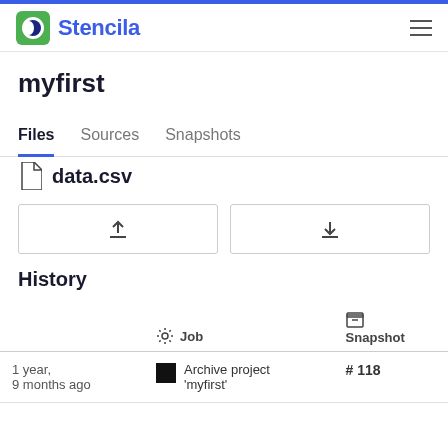Stencila
myfirst
Files  Sources  Snapshots
data.csv
History
|  | Job | Snapshot |
| --- | --- | --- |
| 1 year,
9 months ago | Archive project 'myfirst' | # 118 |